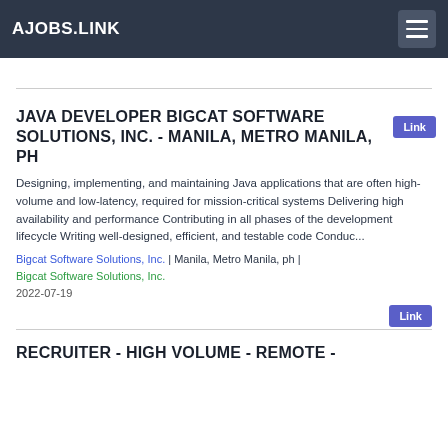AJOBS.LINK
JAVA DEVELOPER BIGCAT SOFTWARE SOLUTIONS, INC. - MANILA, METRO MANILA, PH
Designing, implementing, and maintaining Java applications that are often high-volume and low-latency, required for mission-critical systems Delivering high availability and performance Contributing in all phases of the development lifecycle Writing well-designed, efficient, and testable code Conduc...
Bigcat Software Solutions, Inc. | Manila, Metro Manila, ph | Bigcat Software Solutions, Inc.
2022-07-19
RECRUITER - HIGH VOLUME - REMOTE -